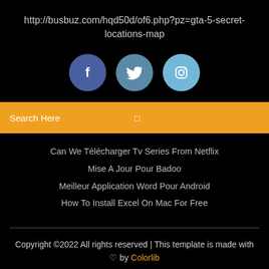http://busbuz.com/hqd50d/of6.php?pz=gta-5-secret-locations-map
[Figure (infographic): Three social media icon circles: Facebook (dark blue), Twitter (teal/blue), Instagram (light blue)]
Search Here
Can We Télécharger Tv Series From Netflix
Mise A Jour Pour Badoo
Meilleur Application Word Pour Android
How To Install Excel On Mac For Free
Copyright ©2022 All rights reserved | This template is made with ♡ by Colorlib